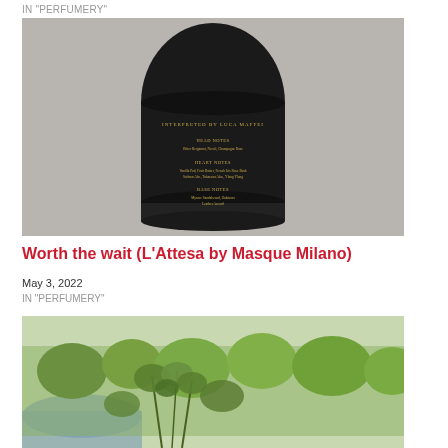IN "PERFUMERY"
[Figure (photo): Dark cylindrical perfume bottle with gold text showing head notes, heart notes, and base notes, on a gray background]
Worth the wait (L’Attesa by Masque Milano)
May 3, 2022
IN "PERFUMERY"
[Figure (photo): Outdoor nature scene with green shrubs and plants near water, lush greenery in background]